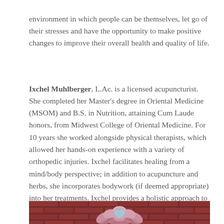environment in which people can be themselves, let go of their stresses and have the opportunity to make positive changes to improve their overall health and quality of life.
Ixchel Muhlberger, L.Ac. is a licensed acupuncturist. She completed her Master's degree in Oriental Medicine (MSOM) and B.S. in Nutrition, attaining Cum Laude honors, from Midwest College of Oriental Medicine. For 10 years she worked alongside physical therapists, which allowed her hands-on experience with a variety of orthopedic injuries. Ixchel facilitates healing from a mind/body perspective; in addition to acupuncture and herbs, she incorporates bodywork (if deemed appropriate) into her treatments. Ixchel provides a holistic approach to health care for her clients, and focuses on giving them the tools they need to heal their own bodies.
[Figure (photo): Photo of a brick wall background with a pink lotus flower with a blue heart in the center displayed on the wall.]